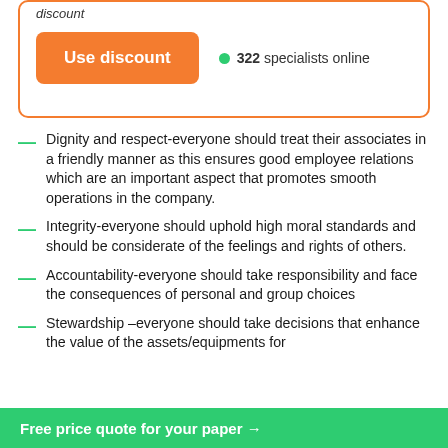discount
[Figure (other): Orange rounded-rectangle box containing a Use discount button and 322 specialists online indicator]
Dignity and respect-everyone should treat their associates in a friendly manner as this ensures good employee relations which are an important aspect that promotes smooth operations in the company.
Integrity-everyone should uphold high moral standards and should be considerate of the feelings and rights of others.
Accountability-everyone should take responsibility and face the consequences of personal and group choices
Stewardship –everyone should take decisions that enhance the value of the assets/equipments for
Free price quote for your paper →